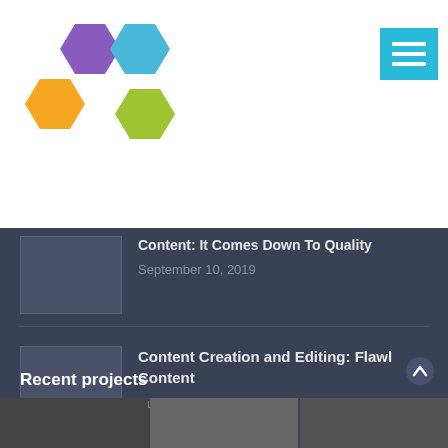[Figure (logo): Four colored hexagons logo: purple top-left, blue top-right, orange bottom-left, green bottom-right]
[Figure (other): Hamburger menu button in cyan/teal color with three white horizontal bars]
Content: It Comes Down To Quality
September 10, 2019
Content Creation and Editing: Flawless Content
August 8, 2019
Better Content Through Collaboration
September 28, 2018
Recent projects
[Figure (photo): Three thumbnail photos at the bottom of the page]